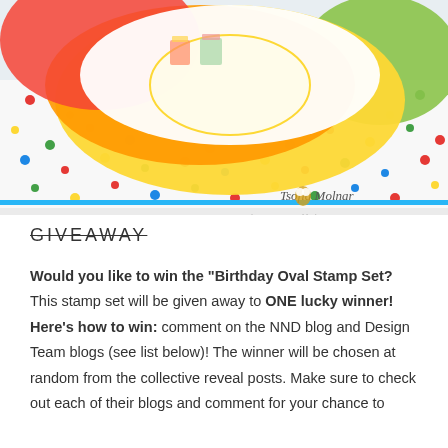[Figure (photo): Close-up photo of a colorful birthday-themed craft card with scalloped oval die-cut layers in rainbow colors (red, orange, yellow, green), glitter/sequin shaker element, and a polka-dot patterned background. A watermark in the lower right reads 'Tsofia Molnar for newtonsnooddesigns.com'.]
GIVEAWAY
Would you like to win the “Birthday Oval Stamp Set? This stamp set will be given away to ONE lucky winner! Here’s how to win: comment on the NND blog and Design Team blogs (see list below)! The winner will be chosen at random from the collective reveal posts. Make sure to check out each of their blogs and comment for your chance to